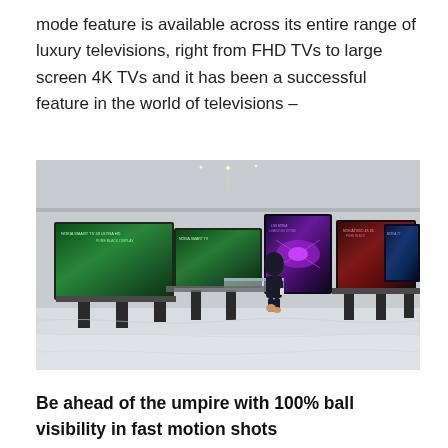mode feature is available across its entire range of luxury televisions, right from FHD TVs to large screen 4K TVs and it has been a successful feature in the world of televisions –
[Figure (photo): A woman in a dark outfit standing in a luxury television showroom with multiple large-screen TVs on display pedestals, showing colorful content on screen. The showroom has a white marble floor and recessed lighting.]
Be ahead of the umpire with 100% ball visibility in fast motion shots